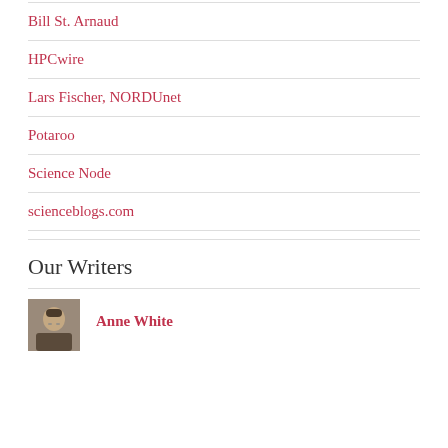Bill St. Arnaud
HPCwire
Lars Fischer, NORDUnet
Potaroo
Science Node
scienceblogs.com
Our Writers
Anne White